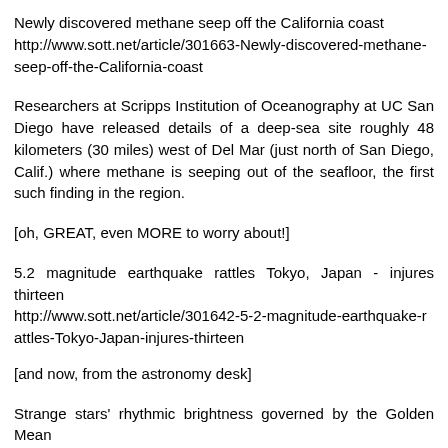Newly discovered methane seep off the California coast
http://www.sott.net/article/301663-Newly-discovered-methane-seep-off-the-California-coast
Researchers at Scripps Institution of Oceanography at UC San Diego have released details of a deep-sea site roughly 48 kilometers (30 miles) west of Del Mar (just north of San Diego, Calif.) where methane is seeping out of the seafloor, the first such finding in the region.
[oh, GREAT, even MORE to worry about!]
5.2 magnitude earthquake rattles Tokyo, Japan - injures thirteen
http://www.sott.net/article/301642-5-2-magnitude-earthquake-rattles-Tokyo-Japan-injures-thirteen
[and now, from the astronomy desk]
Strange stars' rhythmic brightness governed by the Golden Mean
http://www.sott.net/article/301658-Strange-stars-rhythmi...